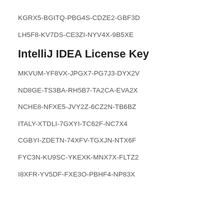KGRX5-BGITQ-PBG4S-CDZE2-GBF3D
LH5F8-KV7DS-CE3ZI-NYV4X-9B5XE
IntelliJ IDEA License Key
MKVUM-YF8VX-JPGX7-PG7J3-DYX2V
ND8GE-TS3BA-RH5B7-TA2CA-EVA2X
NCHE8-NFXE5-JVY2Z-6CZ2N-TB6BZ
ITALY-XTDLI-7GXYI-TC62F-NC7X4
CGBYI-ZDETN-74XFV-TGXJN-NTX6F
FYC3N-KU9SC-YKEXK-MNX7X-FLTZ2
I8XFR-YV5DF-FXE3O-PBHF4-NP83X